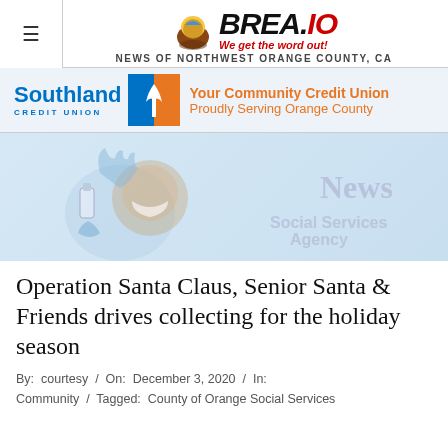BREA.IO We get the word out! NEWS OF NORTHWEST ORANGE COUNTY, CA
[Figure (infographic): Southland Credit Union advertisement banner with blue and orange palm tree logo. Text reads: Your Community Credit Union, Proudly Serving Orange County]
[Figure (illustration): Social Services Agency News watermark graphic with a masked cartoon character holding hand sanitizer and gloves on a light blue background]
Operation Santa Claus, Senior Santa & Friends drives collecting for the holiday season
By: courtesy / On: December 3, 2020 / In: Community / Tagged: County of Orange Social Services